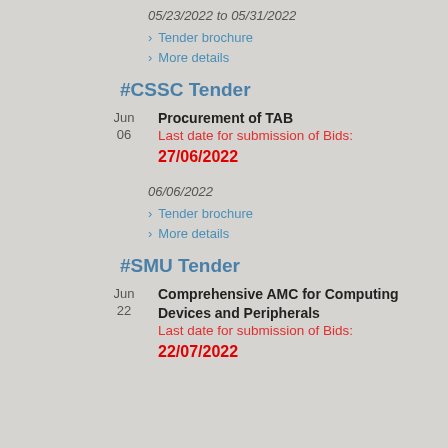05/23/2022 to 05/31/2022
> Tender brochure
> More details
#CSSC Tender
Jun 06 | Procurement of TAB | Last date for submission of Bids: 27/06/2022 | 06/06/2022
> Tender brochure
> More details
#SMU Tender
Jun 22 | Comprehensive AMC for Computing Devices and Peripherals | Last date for submission of Bids: 22/07/2022